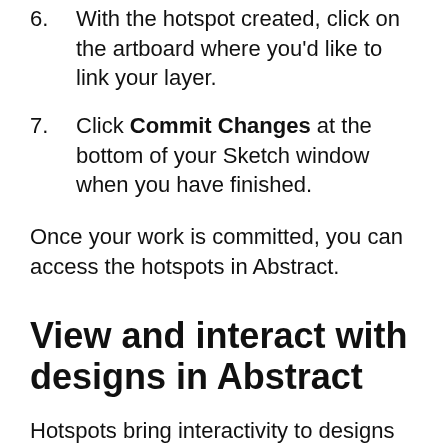6. With the hotspot created, click on the artboard where you'd like to link your layer.
7. Click Commit Changes at the bottom of your Sketch window when you have finished.
Once your work is committed, you can access the hotspots in Abstract.
View and interact with designs in Abstract
Hotspots bring interactivity to designs by allowing you to navigate between artboards in Abstract using presentation